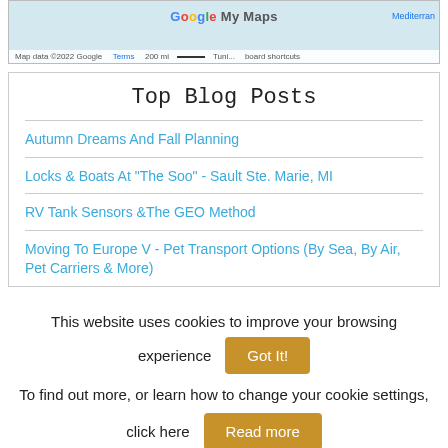[Figure (map): Google My Maps screenshot showing Mediterranean region with map data attribution bar at bottom reading 'Map data ©2022 Google  Terms  200 mi  Keyboard shortcuts' and 'Mediterran' label visible on right, 'Tuni...' label in center.]
Top Blog Posts
Autumn Dreams And Fall Planning
Locks & Boats At "The Soo" - Sault Ste. Marie, MI
RV Tank Sensors &The GEO Method
Moving To Europe V - Pet Transport Options (By Sea, By Air, Pet Carriers & More)
This website uses cookies to improve your browsing experience  Got It!
To find out more, or learn how to change your cookie settings, click here  Read more